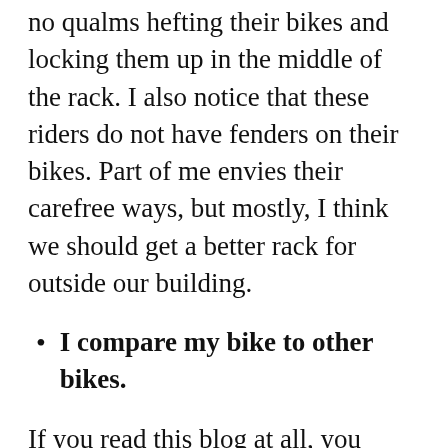no qualms hefting their bikes and locking them up in the middle of the rack. I also notice that these riders do not have fenders on their bikes. Part of me envies their carefree ways, but mostly, I think we should get a better rack for outside our building.
I compare my bike to other bikes.
If you read this blog at all, you know that my Surly Long Haul Trucker is my primary commuter and I'm quite proud of it. I like how it looks, it rides well, and I'm please with how I have accessorized it. Whenever I see how other bikes look and feel, I—